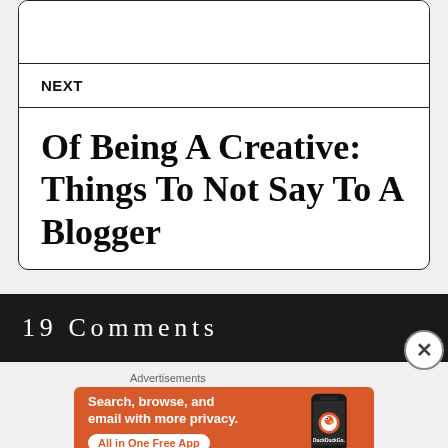NEXT
Of Being A Creative: Things To Not Say To A Blogger
19 Comments
[Figure (infographic): DuckDuckGo advertisement banner with orange background showing a phone with DuckDuckGo logo. Text: 'Search, browse, and email with more privacy. All in One Free App'. Brand: DuckDuckGo.]